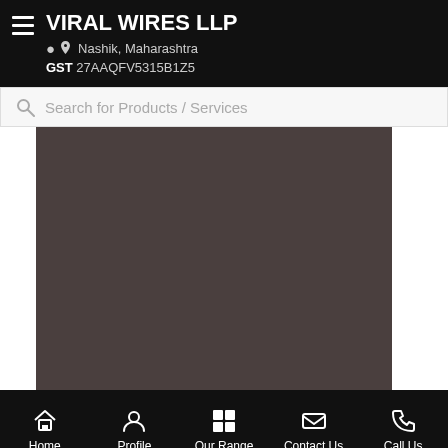VIRAL WIRES LLP — Nashik, Maharashtra — GST 27AAQFV5315B1Z5
Search for Products / Services
[Figure (photo): Dark brownish-grey product image area with white side margins]
Home | Profile | Our Range | Contact Us | Call Us